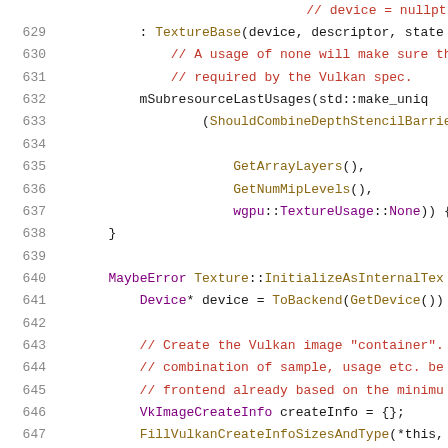[Figure (screenshot): Source code snippet in C++ showing lines 629-649 of a Vulkan texture implementation, with syntax highlighting: line numbers in gray, comments in red, keywords/types in purple, function calls in dark yellow/brown, and regular code in dark gray/black.]